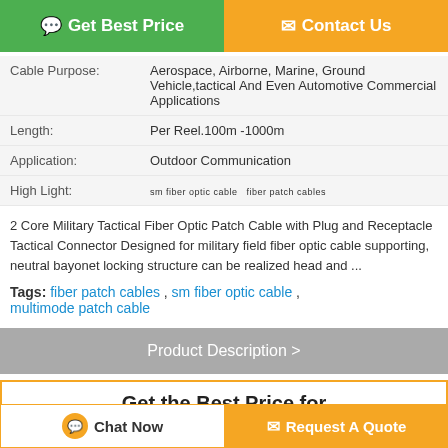[Figure (screenshot): Two action buttons: green 'Get Best Price' and orange 'Contact Us']
| Cable Purpose: | Aerospace, Airborne, Marine, Ground Vehicle,tactical And Even Automotive Commercial Applications |
| Length: | Per Reel.100m -1000m |
| Application: | Outdoor Communication |
| High Light: | sm fiber optic cable, fiber patch cables |
2 Core Military Tactical Fiber Optic Patch Cable with Plug and Receptacle Tactical Connector Designed for military field fiber optic cable supporting, neutral bayonet locking structure can be realized head and ...
Tags: fiber patch cables , sm fiber optic cable , multimode patch cable
Product Description >
Get the Best Price for
2 Core Military Tactical Fiber Optic
[Figure (screenshot): Bottom action buttons: 'Chat Now' and 'Request A Quote']